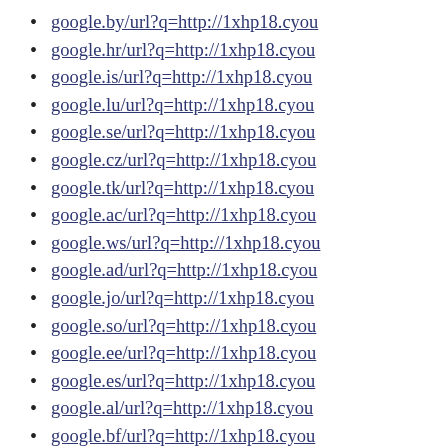google.by/url?q=http://1xhp18.cyou
google.hr/url?q=http://1xhp18.cyou
google.is/url?q=http://1xhp18.cyou
google.lu/url?q=http://1xhp18.cyou
google.se/url?q=http://1xhp18.cyou
google.cz/url?q=http://1xhp18.cyou
google.tk/url?q=http://1xhp18.cyou
google.ac/url?q=http://1xhp18.cyou
google.ws/url?q=http://1xhp18.cyou
google.ad/url?q=http://1xhp18.cyou
google.jo/url?q=http://1xhp18.cyou
google.so/url?q=http://1xhp18.cyou
google.ee/url?q=http://1xhp18.cyou
google.es/url?q=http://1xhp18.cyou
google.al/url?q=http://1xhp18.cyou
google.bf/url?q=http://1xhp18.cyou
google.la/url?q=http://1xhp18.cyou
google.fr/url?q=http://1xhp18.cyou
google.je/url?q=http://1xhp18.cyou